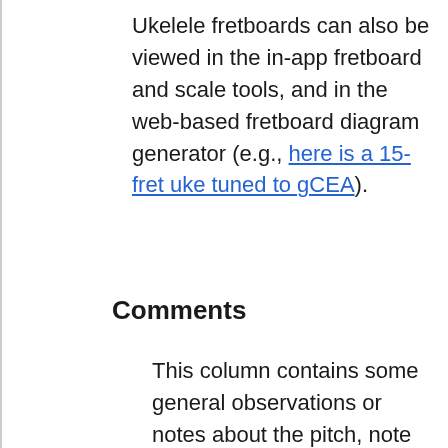Ukelele fretboards can also be viewed in the in-app fretboard and scale tools, and in the web-based fretboard diagram generator (e.g., here is a 15-fret uke tuned to gCEA).
Comments
This column contains some general observations or notes about the pitch, note